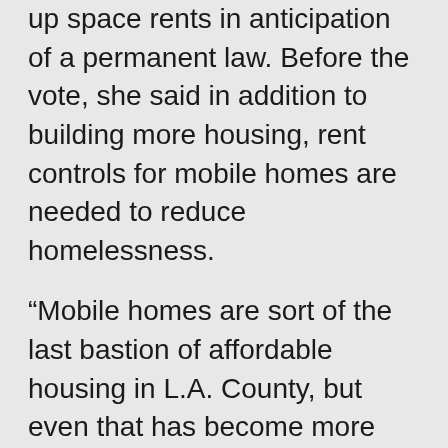up space rents in anticipation of a permanent law. Before the vote, she said in addition to building more housing, rent controls for mobile homes are needed to reduce homelessness.
“Mobile homes are sort of the last bastion of affordable housing in L.A. County, but even that has become more and more unaffordable,” Hahn said at the meeting. “We want to first and foremost, if we can, keep people in their homes.”
Some mobile home residents urged supervisors to forbid any increase in space rents, while the mobile home industry came out against the caps.